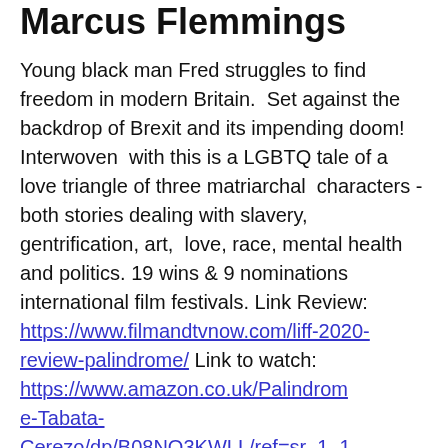Marcus Flemmings
Young black man Fred struggles to find freedom in modern Britain.  Set against the backdrop of Brexit and its impending doom! Interwoven  with this is a LGBTQ tale of a love triangle of three matriarchal  characters - both stories dealing with slavery, gentrification, art,  love, race, mental health and politics. 19 wins & 9 nominations international film festivals. Link Review: https://www.filmandtvnow.com/liff-2020-review-palindrome/ Link to watch: https://www.amazon.co.uk/Palindrome-Tabata-Cerezo/dp/B08NQ3KWLL/ref=sr_1_1?